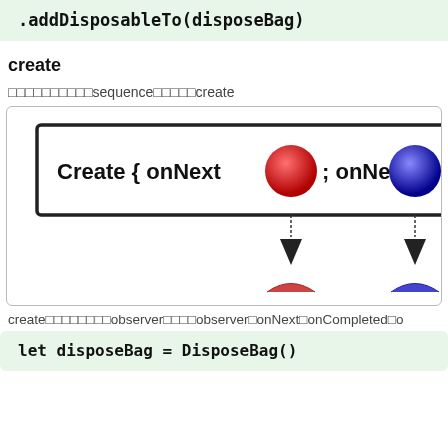.addDisposableTo(disposeBag)
create
□□□□□□□□□□sequence□□□□□create
[Figure (infographic): Diagram showing 'Create { onNext (red circle); onNext (blue circle); or...' with arrows pointing down to colored subscriber symbols]
create□□□□□□□□observer□□□□observer□onNext□onCompleted□o
let disposeBag = DisposeBag()